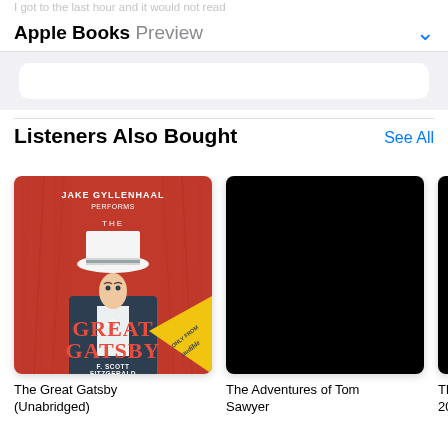I got to the last hour and it would not read
Apple Books Preview
Listeners Also Bought
See All
[Figure (illustration): Audiobook cover for The Great Gatsby performed by Jake Gyllenhaal. Shows a stylized illustration of a man in a tuxedo and white hat, with red curtain background and 'Only from Audible' badge. Text: JAKE GYLLENHAAL PERFORMS THE GREAT GATSBY F. SCOTT FITZGERALD]
The Great Gatsby
(Unabridged)
[Figure (illustration): Black square book cover thumbnail - The Adventures of Tom Sawyer]
The Adventures of Tom
Sawyer
[Figure (illustration): Partially visible black book cover on far right]
Th...
20...